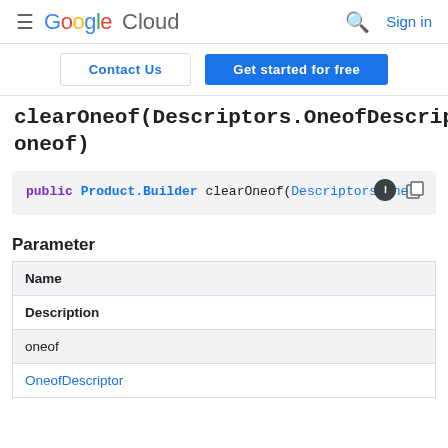Google Cloud — Sign in
Contact Us | Get started for free
clearOneof(Descriptors.OneofDescriptor oneof)
public Product.Builder clearOneof(Descriptors.One
Parameter
| Name | Description |
| --- | --- |
| oneof | OneofDescriptor |